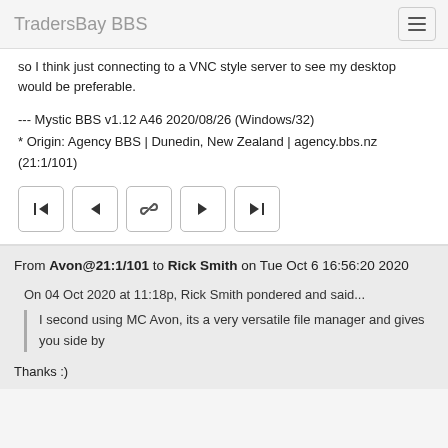TradersBay BBS
so I think just connecting to a VNC style server to see my desktop would be preferable.
--- Mystic BBS v1.12 A46 2020/08/26 (Windows/32)
* Origin: Agency BBS | Dunedin, New Zealand | agency.bbs.nz (21:1/101)
From Avon@21:1/101 to Rick Smith on Tue Oct 6 16:56:20 2020
On 04 Oct 2020 at 11:18p, Rick Smith pondered and said...
I second using MC Avon, its a very versatile file manager and gives you side by
Thanks :)